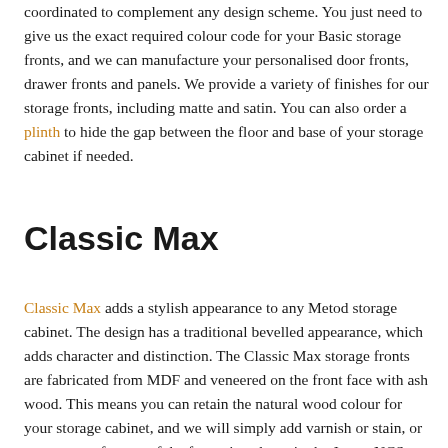coordinated to complement any design scheme. You just need to give us the exact required colour code for your Basic storage fronts, and we can manufacture your personalised door fronts, drawer fronts and panels. We provide a variety of finishes for our storage fronts, including matte and satin. You can also order a plinth to hide the gap between the floor and base of your storage cabinet if needed.
Classic Max
Classic Max adds a stylish appearance to any Metod storage cabinet. The design has a traditional bevelled appearance, which adds character and distinction. The Classic Max storage fronts are fabricated from MDF and veneered on the front face with ash wood. This means you can retain the natural wood colour for your storage cabinet, and we will simply add varnish or stain, or you can opt for any of the fantastic colours in the Jotun, NCS or Farrow & Ball ranges